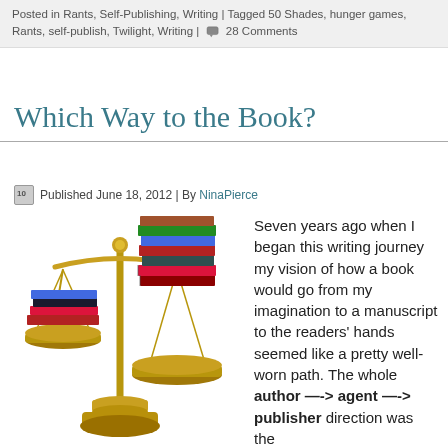Posted in Rants, Self-Publishing, Writing | Tagged 50 Shades, hunger games, Rants, self-publish, Twilight, Writing | 28 Comments
Which Way to the Book?
Published June 18, 2012 | By NinaPierce
[Figure (illustration): A brass balance scale with a small stack of books on the left pan and a large, tall stack of books on the right pan, which is lower due to the heavier load.]
Seven years ago when I began this writing journey my vision of how a book would go from my imagination to a manuscript to the readers' hands seemed like a pretty well-worn path. The whole author —-> agent —-> publisher direction was the